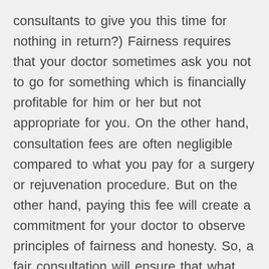consultants to give you this time for nothing in return?) Fairness requires that your doctor sometimes ask you not to go for something which is financially profitable for him or her but not appropriate for you. On the other hand, consultation fees are often negligible compared to what you pay for a surgery or rejuvenation procedure. But on the other hand, paying this fee will create a commitment for your doctor to observe principles of fairness and honesty. So, a fair consultation will ensure that what you pay for next procedures will pay off.